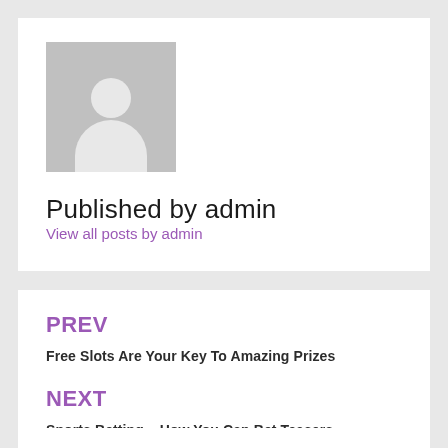[Figure (illustration): Gray square avatar placeholder with white silhouette of a person (head and shoulders)]
Published by admin
View all posts by admin
PREV
Free Slots Are Your Key To Amazing Prizes
NEXT
Sports Betting – How You Can Bet Teasers